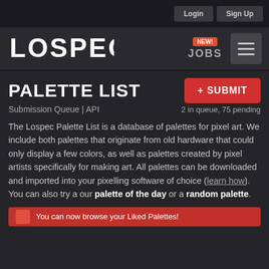Login | Sign Up
[Figure (logo): LOSPEC logo in blocky white lettering]
NEW! JOBS
PALETTE LIST
+ SUBMIT
Submission Queue | API
2 in queue, 75 pending
The Lospec Palette List is a database of palettes for pixel art. We include both palettes that originate from old hardware that could only display a few colors, as well as palettes created by pixel artists specifically for making art. All palettes can be downloaded and imported into your pixelling software of choice (learn how). You can also try a our palette of the day or a random palette.
You can now browse your Liked Palettes!